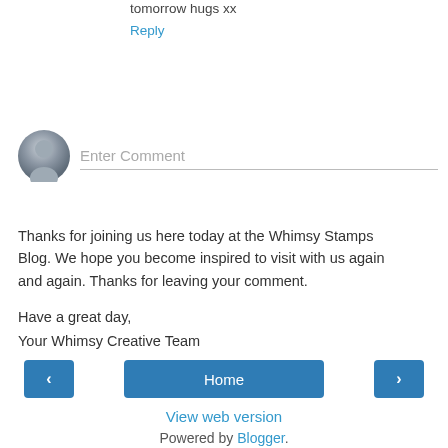tomorrow hugs xx
Reply
[Figure (illustration): Default user avatar circle with gray silhouette and comment input field placeholder 'Enter Comment' with bottom border]
Thanks for joining us here today at the Whimsy Stamps Blog. We hope you become inspired to visit with us again and again. Thanks for leaving your comment.

Have a great day,
Your Whimsy Creative Team
Home
View web version
Powered by Blogger.